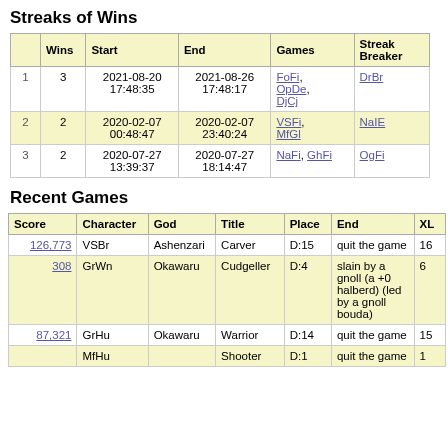Streaks of Wins
|  | Wins | Start | End | Games | Streak Breaker |
| --- | --- | --- | --- | --- | --- |
| 1 | 3 | 2021-08-20 17:48:35 | 2021-08-26 17:48:17 | FoFi, OpDe, DjCj | DrBr |
| 2 | 2 | 2020-02-07 00:48:47 | 2020-02-07 23:40:24 | VSFi, MfGl | NaIE |
| 3 | 2 | 2020-07-27 13:39:37 | 2020-07-27 18:14:47 | NaFi, GhFi | OgFi |
Recent Games
| Score | Character | God | Title | Place | End | XL |
| --- | --- | --- | --- | --- | --- | --- |
| 126,773 | VSBr | Ashenzari | Carver | D:15 | quit the game | 16 |
| 308 | GrWn | Okawaru | Cudgeller | D:4 | slain by a gnoll (a +0 halberd) (led by a gnoll bouda) | 6 |
| 87,321 | GrHu | Okawaru | Warrior | D:14 | quit the game | 15 |
|  | MfHu |  | Shooter | D:1 | quit the game | 1 |